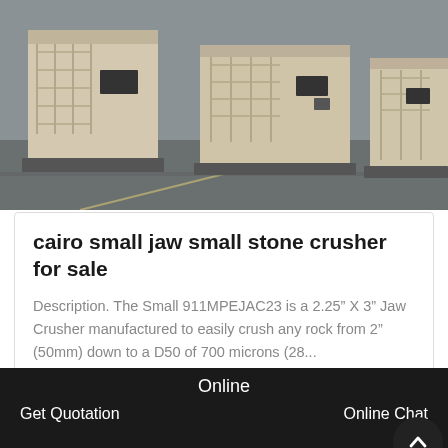[Figure (photo): Photo of large industrial jaw stone crusher machines lined up outdoors on pavement, light beige/cream colored heavy equipment with shelving structures visible]
cairo small jaw small stone crusher for sale
Description. The Small 911MPEJAC23 is a 2.25″ X 3″ Jaw Crusher manufactured to easily crush any rock from 2″ (50mm) down to a D50 of 700 microns (28...
Get Price
[Figure (other): Broken image icon placeholder]
Online  Get Quotation  Online Chat